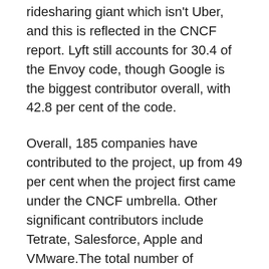Envoy was initially developed in 2016 at Lyft, the ridesharing giant which isn't Uber, and this is reflected in the CNCF report. Lyft still accounts for 30.4 of the Envoy code, though Google is the biggest contributor overall, with 42.8 per cent of the code.
Overall, 185 companies have contributed to the project, up from 49 per cent when the project first came under the CNCF umbrella. Other significant contributors include Tetrate, Salesforce, Apple and VMware.The total number of contributors has shot-up from 213 to 1,739.
So it's no surprise that geographically, over half of contributions comes the US, down from almost 80 per cent in 2016. The three next most contributingest countries are China, German, the UK